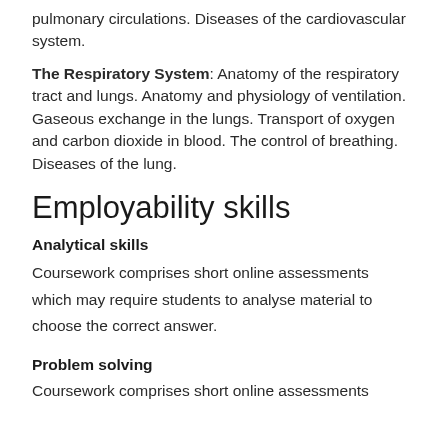pulmonary circulations. Diseases of the cardiovascular system.
The Respiratory System: Anatomy of the respiratory tract and lungs. Anatomy and physiology of ventilation. Gaseous exchange in the lungs. Transport of oxygen and carbon dioxide in blood. The control of breathing. Diseases of the lung.
Employability skills
Analytical skills
Coursework comprises short online assessments which may require students to analyse material to choose the correct answer.
Problem solving
Coursework comprises short online assessments